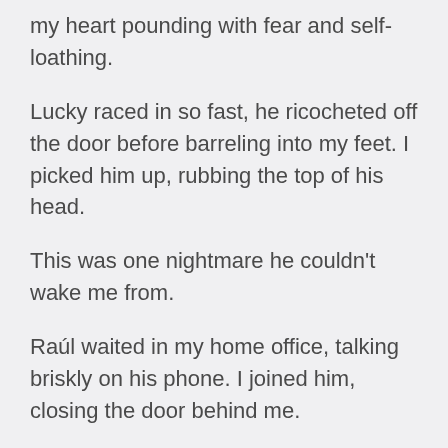my heart pounding with fear and self-loathing.
Lucky raced in so fast, he ricocheted off the door before barreling into my feet. I picked him up, rubbing the top of his head.
This was one nightmare he couldn't wake me from.
Raúl waited in my home office, talking briskly on his phone. I joined him, closing the door behind me.
He ended the call and stood. “The police are on scene. The gunman’s in custody.”
“Monica?”